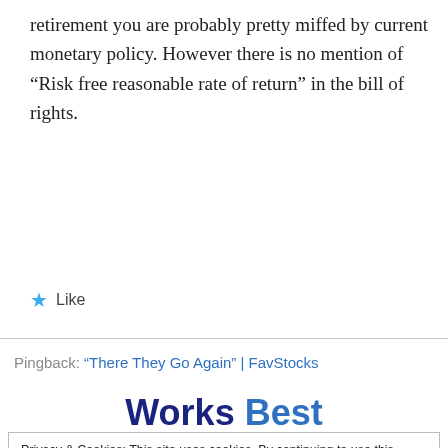retirement you are probably pretty miffed by current monetary policy. However there is no mention of “Risk free reasonable rate of return” in the bill of rights.
★ Like
Pingback: “There They Go Again” | FavStocks
Works Best
Privacy & Cookies: This site uses cookies. By continuing to use this website, you agree to their use.
To find out more, including how to control cookies, see here: Cookie Policy